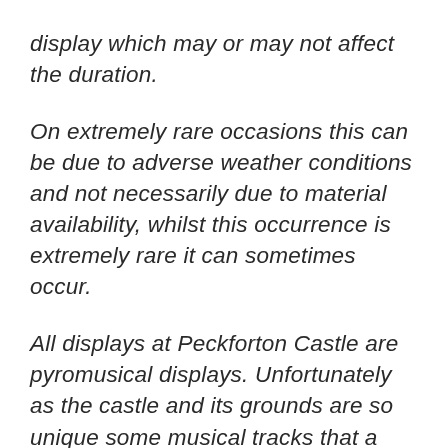display which may or may not affect the duration.
On extremely rare occasions this can be due to adverse weather conditions and not necessarily due to material availability, whilst this occurrence is extremely rare it can sometimes occur.
All displays at Peckforton Castle are pyromusical displays. Unfortunately as the castle and its grounds are so unique some musical tracks that a client may wish to use might not be suitable for the grounds or the pyrotechnic material available to interpret their music choice